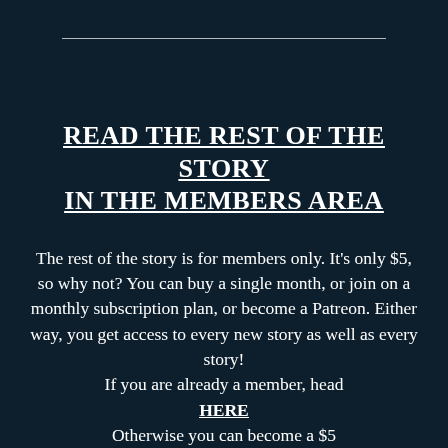READ THE REST OF THE STORY IN THE MEMBERS AREA
The rest of the story is for members only. It's only $5, so why not? You can buy a single month, or join on a monthly subscription plan, or become a Patreon. Either way, you get access to every new story as well as every story!
If you are already a member, head HERE
Otherwise you can become a $5 Patreon here! Or you can purchase a